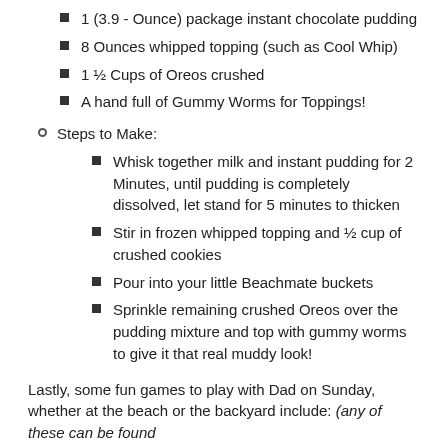1 (3.9 - Ounce) package instant chocolate pudding
8 Ounces whipped topping (such as Cool Whip)
1 ½ Cups of Oreos crushed
A hand full of Gummy Worms for Toppings!
Steps to Make:
Whisk together milk and instant pudding for 2 Minutes, until pudding is completely dissolved, let stand for 5 minutes to thicken
Stir in frozen whipped topping and ½ cup of crushed cookies
Pour into your little Beachmate buckets
Sprinkle remaining crushed Oreos over the pudding mixture and top with gummy worms to give it that real muddy look!
Lastly, some fun games to play with Dad on Sunday, whether at the beach or the backyard include: (any of these can be found